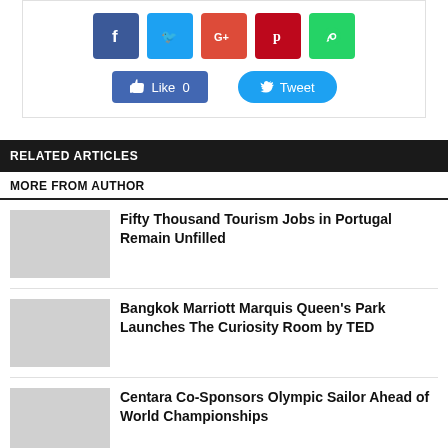[Figure (other): Social share buttons: Facebook (f), Twitter bird, Google+ (G+), Pinterest (p), WhatsApp; Like 0 button and Tweet button]
RELATED ARTICLES
MORE FROM AUTHOR
Fifty Thousand Tourism Jobs in Portugal Remain Unfilled
Bangkok Marriott Marquis Queen's Park Launches The Curiosity Room by TED
Centara Co-Sponsors Olympic Sailor Ahead of World Championships